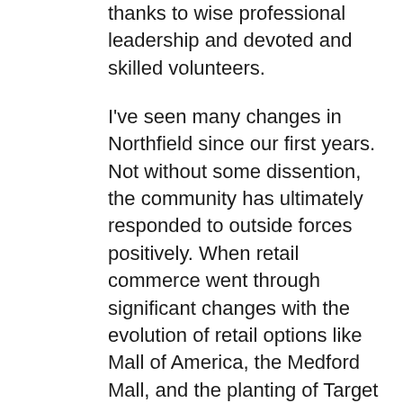thanks to wise professional leadership and devoted and skilled volunteers.
I've seen many changes in Northfield since our first years. Not without some dissention, the community has ultimately responded to outside forces positively. When retail commerce went through significant changes with the evolution of retail options like Mall of America, the Medford Mall, and the planting of Target on Highway 3, dedicated citizens came forward to work with the downtown merchants, the city and others to weather the change with the result that downtown Northfield not only retains its historic appearance, it boasts places to shop and dine and is a regional destination. The NDDC is one more example of citizen action toward